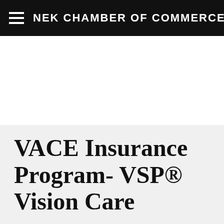NEK CHAMBER OF COMMERCE
VACE Insurance Program- VSP® Vision Care